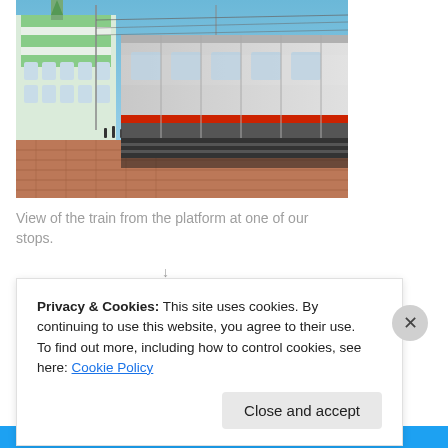[Figure (photo): A train viewed from the platform at a station. A long silver/grey passenger train with a red stripe runs along the right side. On the left is a large white and green building (station). The platform is brick-paved. Clear blue sky above.]
View of the train from the platform at one of our stops.
Privacy & Cookies: This site uses cookies. By continuing to use this website, you agree to their use.
To find out more, including how to control cookies, see here: Cookie Policy
Close and accept